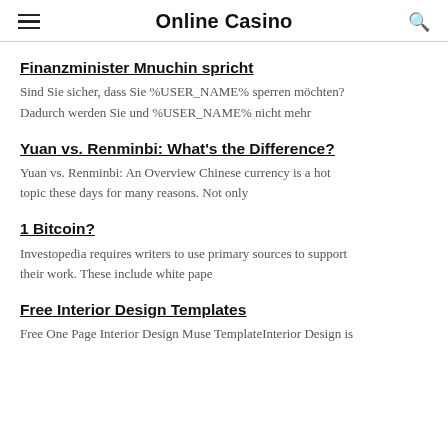Online Casino
Finanzminister Mnuchin spricht
Sind Sie sicher, dass Sie %USER_NAME% sperren möchten? Dadurch werden Sie und %USER_NAME% nicht mehr
Yuan vs. Renminbi: What's the Difference?
Yuan vs. Renminbi: An Overview Chinese currency is a hot topic these days for many reasons. Not only
1 Bitcoin?
Investopedia requires writers to use primary sources to support their work. These include white pape
Free Interior Design Templates
Free One Page Interior Design Muse TemplateInterior Design is